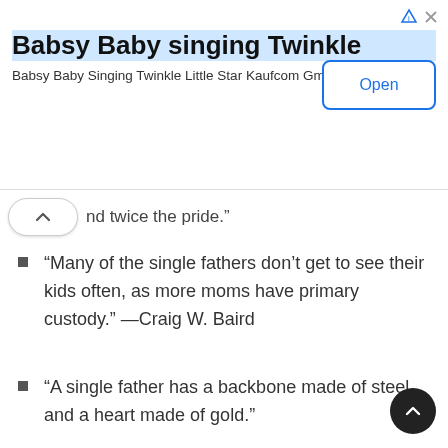[Figure (screenshot): Advertisement banner for 'Babsy Baby singing Twinkle' app by Kaufcom GmbH with an Open button]
nd twice the pride.”
“Many of the single fathers don’t get to see their kids often, as more moms have primary custody.” —Craig W. Baird
“A single father has a backbone made of steel and a heart made of gold.”